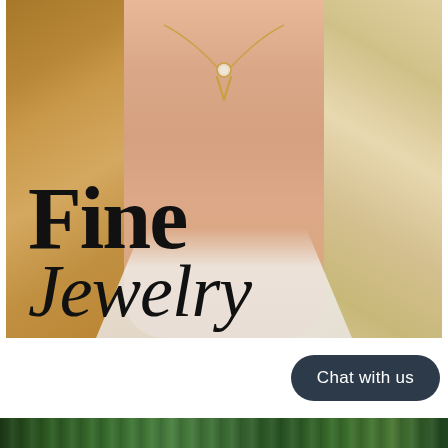[Figure (photo): Close-up photo of a woman wearing a gold V-shaped pendant necklace with a diamond/gem at the top, with blonde hair visible on both sides and a white jacket. The text 'Fine Jewelry' is overlaid on the image in large black serif font.]
Fine Jewelry
Chat with us
[Figure (photo): Partial view of a green nature/foliage image at the bottom of the page, cropped.]